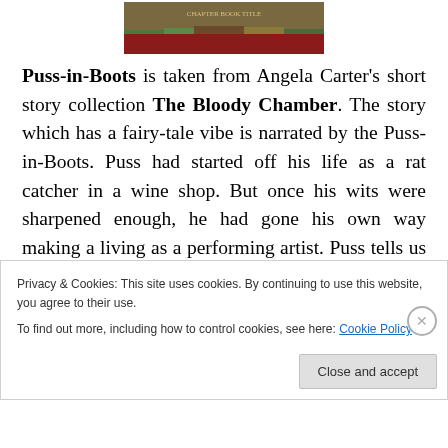[Figure (photo): Book cover image partially visible at top of page]
Puss-in-Boots is taken from Angela Carter's short story collection The Bloody Chamber. The story which has a fairy-tale vibe is narrated by the Puss-in-Boots. Puss had started off his life as a rat catcher in a wine shop. But once his wits were sharpened enough, he had gone his own way making a living as a performing artist. Puss tells us he was good at acrobatic tricks and singing, and his audience used to "deluge [him] with pails of the freshest water, vegetables, hardly spoiled, and occasionally dinners
Privacy & Cookies: This site uses cookies. By continuing to use this website, you agree to their use.
To find out more, including how to control cookies, see here: Cookie Policy
Close and accept